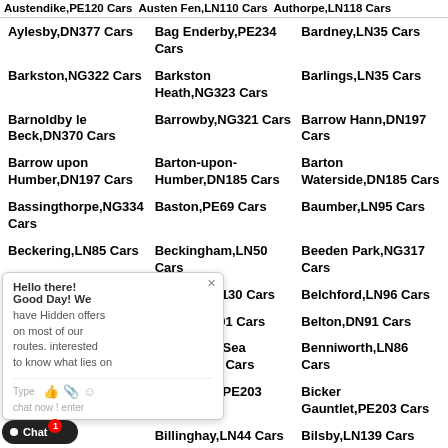Austendike,PE120 Cars Austen Fen,LN110 Cars Authorpe,LN118 Cars
Aylesby,DN377 Cars
Bag Enderby,PE234 Cars
Bardney,LN35 Cars
Barkston,NG322 Cars
Barkston Heath,NG323 Cars
Barlings,LN35 Cars
Barnoldby le Beck,DN370 Cars
Barrowby,NG321 Cars
Barrow Hann,DN197 Cars
Barrow upon Humber,DN197 Cars
Barton-upon-Humber,DN185 Cars
Barton Waterside,DN185 Cars
Bassingthorpe,NG334 Cars
Baston,PE69 Cars
Baumber,LN95 Cars
Beckering,LN85 Cars
Beckingham,LN50 Cars
Beeden Park,NG317 Cars
Beesby DN365 Cars
Beesby,LN130 Cars
Belchford,LN96 Cars
Belnie
Beltoft,DN91 Cars
Belton,DN91 Cars
Bening
Benington Sea End,PE220 Cars
Benniworth,LN86 Cars
Bicker
Bicker Bar,PE203 Cars
Bicker Gauntlet,PE203 Cars
Billing
Billinghay,LN44 Cars
Bilsby,LN139 Cars
N86 Cars
Birchwood,LN60 Cars
Birkholme,NG334 Cars